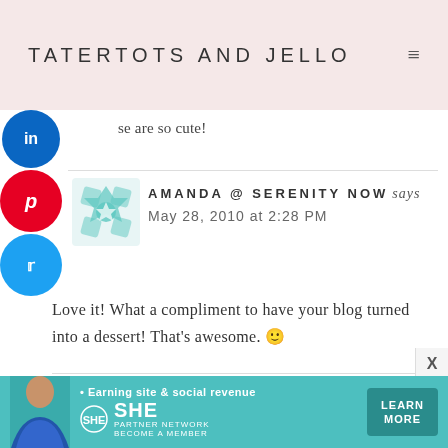TATERTOTS AND JELLO
se are so cute!
AMANDA @ SERENITY NOW says
May 28, 2010 at 2:28 PM
Love it! What a compliment to have your blog turned into a dessert! That's awesome. 🙂
HONEYSUCKLE says
[Figure (screenshot): Ad banner for SHE PARTNER NETWORK - Earning site & social revenue. LEARN MORE button. Woman photo on left.]